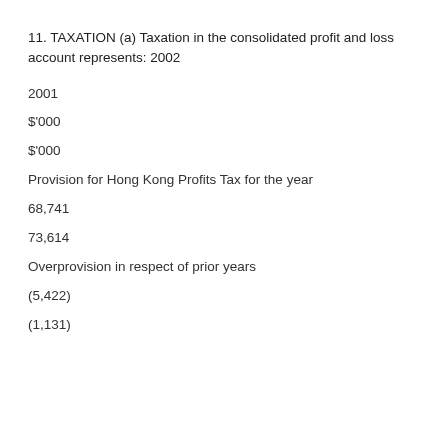11. TAXATION (a) Taxation in the consolidated profit and loss account represents: 2002
2001
$'000
$'000
Provision for Hong Kong Profits Tax for the year
68,741
73,614
Overprovision in respect of prior years
(5,422)
(1,131)